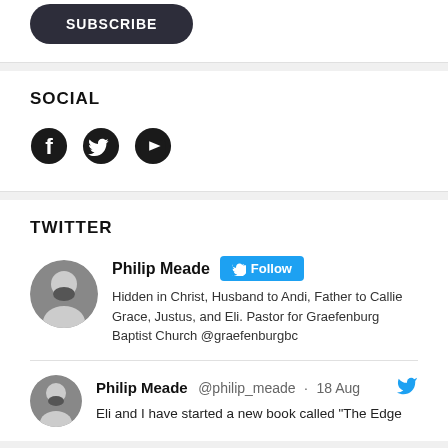[Figure (other): Subscribe button - dark rounded pill button with text SUBSCRIBE]
SOCIAL
[Figure (other): Social media icons: Facebook, Twitter, YouTube]
TWITTER
[Figure (other): Philip Meade Twitter profile card with avatar, Follow button, and bio: Hidden in Christ, Husband to Andi, Father to Callie Grace, Justus, and Eli. Pastor for Graefenburg Baptist Church @graefenburgbc]
Philip Meade @philip_meade · 18 Aug Eli and I have started a new book called "The Edge